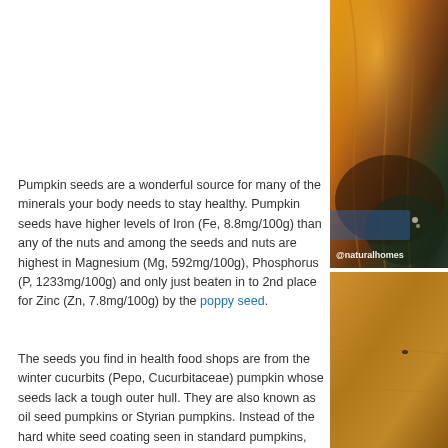[Figure (photo): Close-up photo of pumpkins/gourds showing orange and dark green textured skin, with @naturalhomes watermark]
Pumpkin seeds are a wonderful source for many of the minerals your body needs to stay healthy. Pumpkin seeds have higher levels of Iron (Fe, 8.8mg/100g) than any of the nuts and among the seeds and nuts are highest in Magnesium (Mg, 592mg/100g), Phosphorus (P, 1233mg/100g) and only just beaten in to 2nd place for Zinc (Zn, 7.8mg/100g) by the poppy seed.
[Figure (photo): Photo with Pinterest Save button overlay, showing a light brown/golden surface texture, possibly a pumpkin or squash cut open]
The seeds you find in health food shops are from the winter cucurbits (Pepo, Cucurbitaceae) pumpkin whose seeds lack a tough outer hull. They are also known as oil seed pumpkins or Styrian pumpkins. Instead of the hard white seed coating seen in standard pumpkins, these